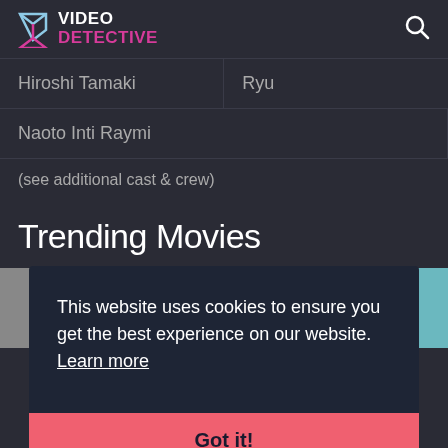VIDEO DETECTIVE
| Actor | Role |
| --- | --- |
| Hiroshi Tamaki | Ryu |
| Naoto Inti Raymi |  |
(see additional cast & crew)
Trending Movies
[Figure (screenshot): Two movie thumbnail images side by side]
This website uses cookies to ensure you get the best experience on our website.
Learn more
Got it!